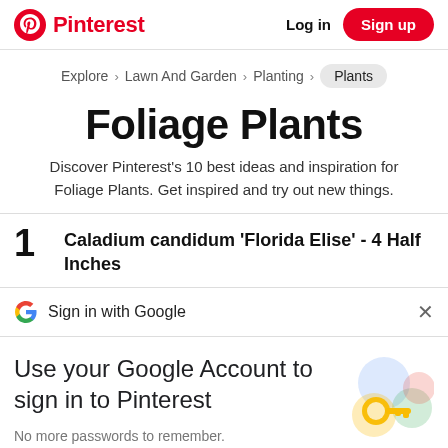Pinterest  Log in  Sign up
Explore > Lawn And Garden > Planting > Plants
Foliage Plants
Discover Pinterest's 10 best ideas and inspiration for Foliage Plants. Get inspired and try out new things.
1  Caladium candidum 'Florida Elise' - 4 Half Inches
Sign in with Google
Use your Google Account to sign in to Pinterest
No more passwords to remember.
Signing in is fast, simple and secure.
[Figure (illustration): Colorful Google account sign-in illustration with keys and circles]